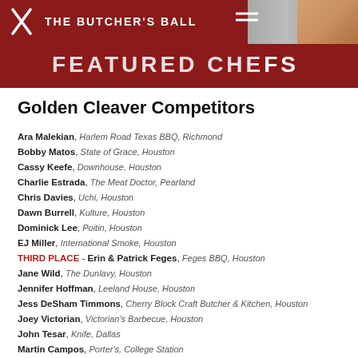THE BUTCHER'S BALL — FEATURED CHEFS
Golden Cleaver Competitors
Ara Malekian, Harlem Road Texas BBQ, Richmond
Bobby Matos, State of Grace, Houston
Cassy Keefe, Downhouse, Houston
Charlie Estrada, The Meat Doctor, Pearland
Chris Davies, Uchi, Houston
Dawn Burrell, Kulture, Houston
Dominick Lee, Poitin, Houston
EJ Miller, International Smoke, Houston
THIRD PLACE - Erin & Patrick Feges, Feges BBQ, Houston
Jane Wild, The Dunlavy, Houston
Jennifer Hoffman, Leeland House, Houston
Jess DeSham Timmons, Cherry Block Craft Butcher & Kitchen, Houston
Joey Victorian, Victorian's Barbecue, Houston
John Tesar, Knife, Dallas
Martin Campos, Porter's, College Station
Martin Stayer, Nobie's, Houston
Ryan Hildebrand, FM Kitchen & Bar, Houston
Ryan Lachaine, Riel, Houston
Ryan Savoie, Saint Arnold Brewery, Houston
Sean "Buffalo" Carroll, Melange Creperie, Houston
SECOND PLACE - Teddy Lopez, Killen's STQ, Houston